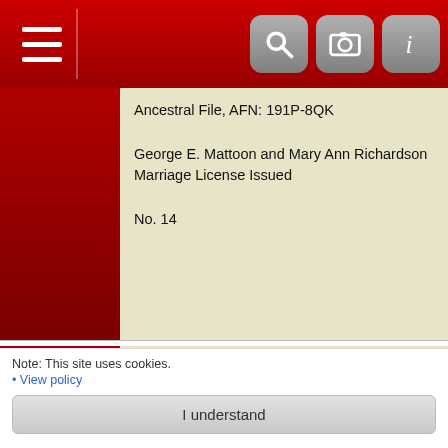[Figure (screenshot): Mobile app navigation bar with red background, hamburger menu on left, and three icon buttons (search, camera, info) on right]
Ancestral File, AFN: 191P-8QK

George E. Mattoon and Mary Ann Richardson Marriage License Issued

No. 14
Sources
[S494] 1860 Census Huron County, Ohio, Fitchville Twp., Ln 16, Dwelling 2528, Family 2456, M653 Rolls 990 & 991, 350, National Archives-General Services Admi (Reliability: 3). Indicates that Mary was born in Vermont. It lists her age as 22 years old in the 1860 census. The census was taken in July of 1860. So this would make her birth Abt. 1838.
[S507] Newspaper Article Burt County Hearld, "Notice of Litigation"; clipping only (Reliability: 3). Newspaper Article Burt County Hearld, "Notice of
Note: This site uses cookies.
• View policy
I understand